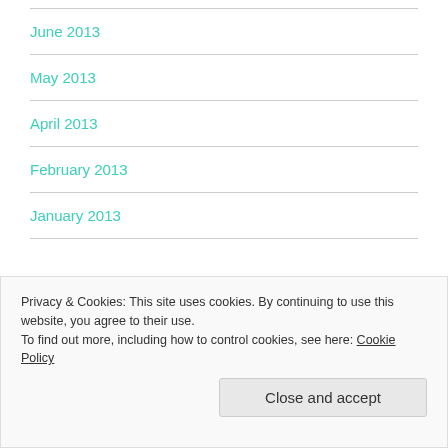June 2013
May 2013
April 2013
February 2013
January 2013
Privacy & Cookies: This site uses cookies. By continuing to use this website, you agree to their use.
To find out more, including how to control cookies, see here: Cookie Policy
October 2012